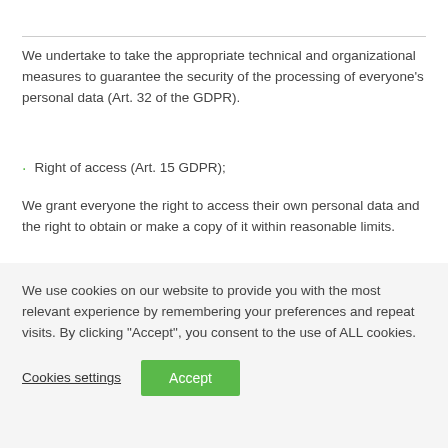We undertake to take the appropriate technical and organizational measures to guarantee the security of the processing of everyone's personal data (Art. 32 of the GDPR).
Right of access (Art. 15 GDPR);
We grant everyone the right to access their own personal data and the right to obtain or make a copy of it within reasonable limits.
Right of rectification (Art. 16 GDPR);
We recognize the possibility of requesting the rectification of
We use cookies on our website to provide you with the most relevant experience by remembering your preferences and repeat visits. By clicking "Accept", you consent to the use of ALL cookies.
Cookies settings
Accept